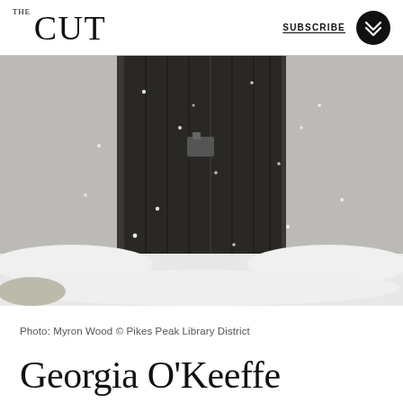THE CUT | SUBSCRIBE
[Figure (photo): Black and white photograph of a wooden door set in an adobe/stucco wall, with snow on the ground and snowflakes visible in the air. The door has vertical wooden planks and a small latch. Snow drifts are at the base of the wall.]
Photo: Myron Wood © Pikes Peak Library District
Georgia O'Keeffe